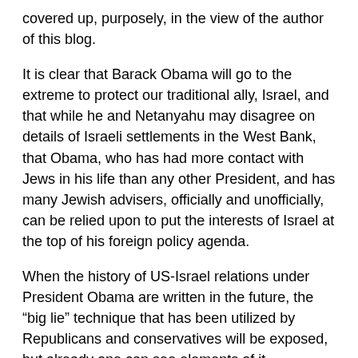covered up, purposely, in the view of the author of this blog.
It is clear that Barack Obama will go to the extreme to protect our traditional ally, Israel, and that while he and Netanyahu may disagree on details of Israeli settlements in the West Bank, that Obama, who has had more contact with Jews in his life than any other President, and has many Jewish advisers, officially and unofficially, can be relied upon to put the interests of Israel at the top of his foreign policy agenda.
When the history of US-Israel relations under President Obama are written in the future, the “big lie” technique that has been utilized by Republicans and conservatives will be exposed, but already one can see elements of it.